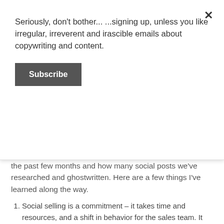Seriously, don't bother... ...signing up, unless you like irregular, irreverent and irascible emails about copywriting and content.
Subscribe
the past few months and how many social posts we've researched and ghostwritten. Here are a few things I've learned along the way.
Social selling is a commitment – it takes time and resources, and a shift in behavior for the sales team. It means spending less time on cold calls, coffee chats or emails, and more time connecting online, updating your profile and sharing industry insights.
Building a better profile is an important first step – according to one pilot program we were involved in, a complete profile (85% to 100% by